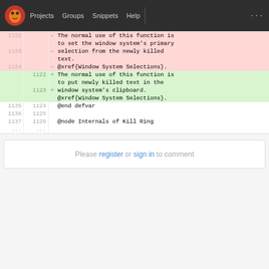GNU (logo) | Projects | Groups | Snippets | Help | ...
| old line | new line | +/- | code |
| --- | --- | --- | --- |
| 1132 |  | - | The normal use of this function is |
|  |  |  |   to set the window system's primary |
| 1133 |  | - | selection from the newly killed |
|  |  |  |   text. |
| 1134 |  | - |   @xref{Window System Selections}. |
|  | 1122 | + | The normal use of this function is |
|  |  |  |   to put newly killed text in the |
|  | 1123 | + | window system's clipboard. |
|  |  |  |   @xref{Window System Selections}. |
| 1135 | 1124 |  |   @end defvar |
| 1136 | 1125 |  |  |
| 1137 | 1126 |  |   @node Internals of Kill Ring |
| ... | ... |  |  |
Please register or sign in to comment